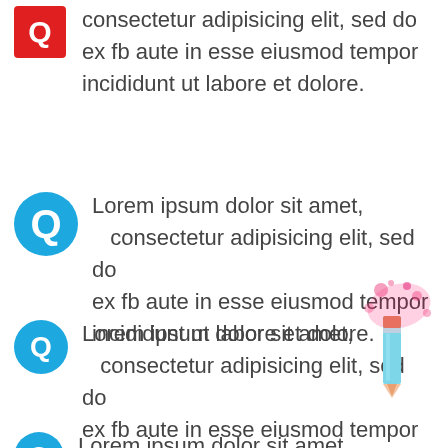Q consectetur adipisicing elit, sed do ex fb aute in esse eiusmod tempor incididunt ut labore et dolore.
Q Lorem ipsum dolor sit amet, consectetur adipisicing elit, sed do ex fb aute in esse eiusmod tempor incididunt ut labore et dolore.
Q Lorem ipsum dolor sit amet, consectetur adipisicing elit, sed do ex fb aute in esse eiusmod tempor incididunt ut labore et dolore.
Q Lorem ipsum dolor sit amet,